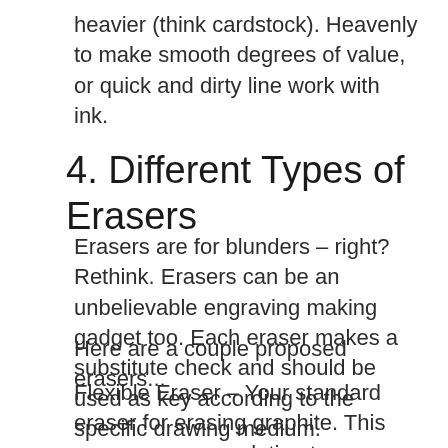heavier (think cardstock). Heavenly to make smooth degrees of value, or quick and dirty line work with ink.
4. Different Types of Erasers
Erasers are for blunders – right? Rethink. Erasers can be an unbelievable engraving making gadget too. Each eraser makes a substitute check and should be used as key according to the specific drawing medium.
Here are a couple proposed erasers...
Flexible Eraser – Your standard eraser for erasing graphite. This eraser uses granulating to remove any material from the surface.